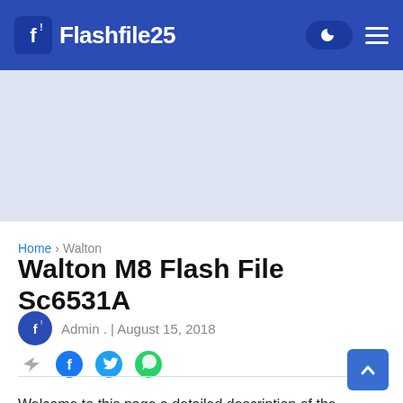Flashfile25
[Figure (screenshot): Advertisement banner area with light blue-grey background]
Home › Walton
Walton M8 Flash File Sc6531A
Admin . | August 15, 2018
[Figure (infographic): Social share icons: share arrow, Facebook, Twitter, WhatsApp]
Welcome to this page,a detailed description of the